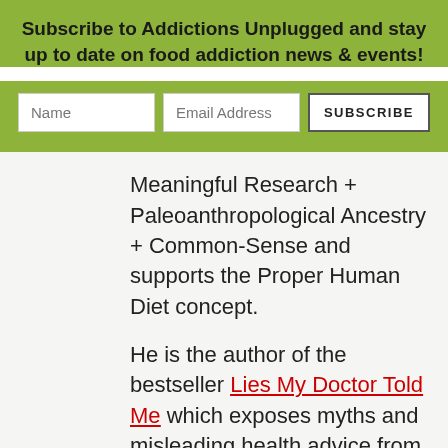Subscribe to Addictions Unplugged and stay up to date on food addiction news & events!
[Figure (infographic): Newsletter subscription form with Name and Email Address input fields and a SUBSCRIBE button on a green background]
Meaningful Research + Paleoanthropological Ancestry + Common-Sense and supports the Proper Human Diet concept.
He is the author of the bestseller Lies My Doctor Told Me which exposes myths and misleading health advice from well-meaning